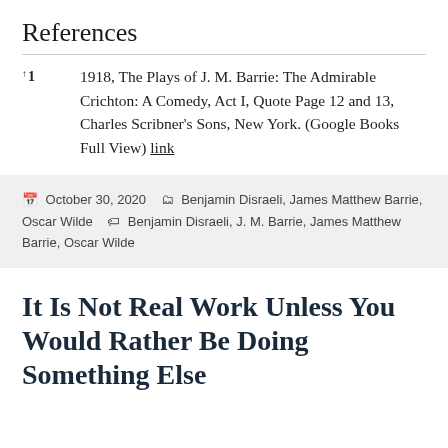References
↑1   1918, The Plays of J. M. Barrie: The Admirable Crichton: A Comedy, Act I, Quote Page 12 and 13, Charles Scribner's Sons, New York. (Google Books Full View) link
October 30, 2020  Categories: Benjamin Disraeli, James Matthew Barrie, Oscar Wilde  Tags: Benjamin Disraeli, J. M. Barrie, James Matthew Barrie, Oscar Wilde
It Is Not Real Work Unless You Would Rather Be Doing Something Else